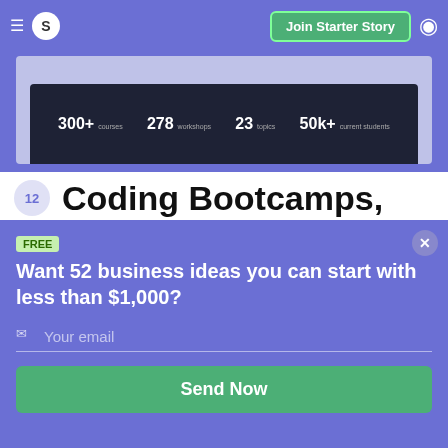S  Join Starter Story
[Figure (screenshot): Screenshot of an online learning platform showing stats: 300+ courses, 278 workshops, 23 topics, 50k+ current students]
12  Coding Bootcamps, Data Scienc
FREE
Want 52 business ideas you can start with less than $1,000?
Your email
Send Now